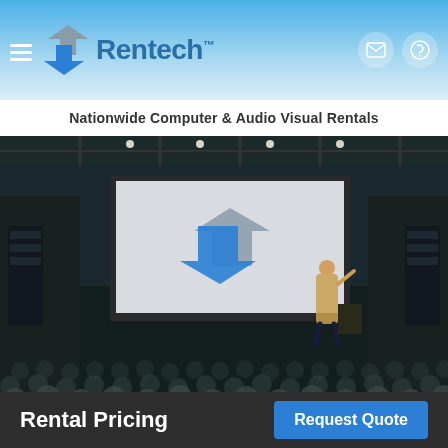[Figure (logo): Rentech logo with two arrow-shaped icons (grey and blue) and brand name Rentech with TM mark]
Nationwide Computer & Audio Visual Rentals
[Figure (photo): Large conference hall with audience seated, a presenter on stage, and a large projection screen displaying the Rentech logo (two arrows) on a light grey background]
Rental Pricing
Request Quote